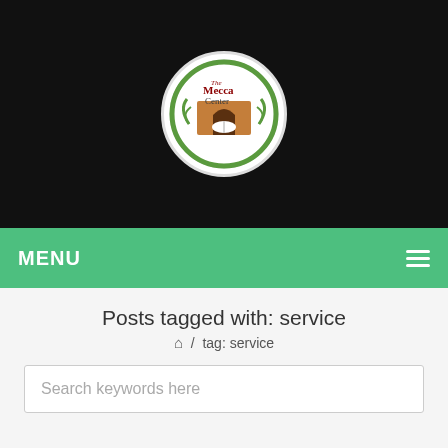[Figure (logo): The Mecca Center circular logo with an open book and archway, on black header background]
MENU
Posts tagged with: service
🏠 / tag: service
Search keywords here
Daily prayers at The Mecca Center suspended until further